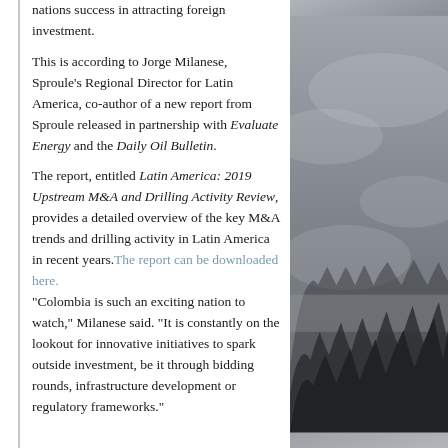nations success in attracting foreign investment.

This is according to Jorge Milanese, Sproule's Regional Director for Latin America, co-author of a new report from Sproule released in partnership with Evaluate Energy and the Daily Oil Bulletin.
The report, entitled Latin America: 2019 Upstream M&A and Drilling Activity Review, provides a detailed overview of the key M&A trends and drilling activity in Latin America in recent years. The report can be downloaded here.
"Colombia is such an exciting nation to watch," Milanese said. "It is constantly on the lookout for innovative initiatives to spark outside investment, be it through bidding rounds, infrastructure development or regulatory frameworks."
[Figure (photo): Misty mountain forest landscape with dark tree silhouettes against grey cloudy sky]